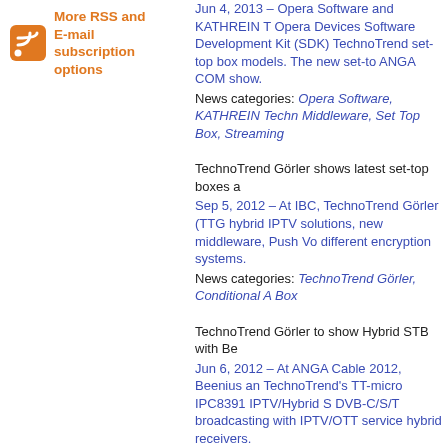[Figure (logo): Orange RSS feed icon]
More RSS and E-mail subscription options
Jun 4, 2013 – Opera Software and KATHREIN T Opera Devices Software Development Kit (SDK) TechnoTrend set-top box models. The new set-to ANGA COM show.
News categories: Opera Software, KATHREIN Techn Middleware, Set Top Box, Streaming
TechnoTrend Görler shows latest set-top boxes a
Sep 5, 2012 – At IBC, TechnoTrend Görler (TTG hybrid IPTV solutions, new middleware, Push Vo different encryption systems.
News categories: TechnoTrend Görler, Conditional A Box
TechnoTrend Görler to show Hybrid STB with Be
Jun 6, 2012 – At ANGA Cable 2012, Beenius an TechnoTrend's TT-micro IPC8391 IPTV/Hybrid S DVB-C/S/T broadcasting with IPTV/OTT service hybrid receivers.
News categories: TechnoTrend, Beenius, ANGA CO Top Box
TechnoTrend Görler Launches User Interface for Service at ANGA Cable
May 3, 2012 – TechnoTrend Görler (TTG) is to s interface at ANGA Cable in Cologne. The in-hou of the user interface using company logos, adve
News categories: TechnoTrend, ANGA COM, Middle
South Africa to have satellite VOD service
May 9, 2011 – Southtel is to launch a satellite d